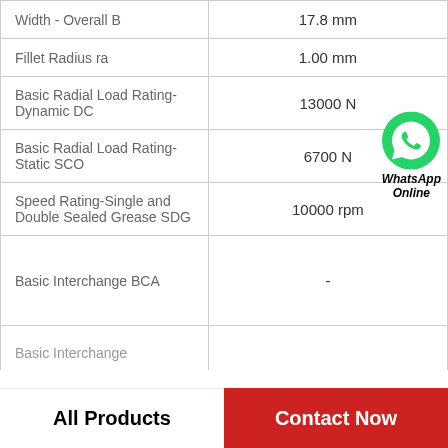| Property | Value |
| --- | --- |
| Width - Overall B | 17.8 mm |
| Fillet Radius ra | 1.00 mm |
| Basic Radial Load Rating-Dynamic DC | 13000 N |
| Basic Radial Load Rating-Static SCO | 6700 N |
| Speed Rating-Single and Double Sealed Grease SDG | 10000 rpm |
| Basic Interchange BCA | - |
| Basic Interchange |  |
[Figure (logo): WhatsApp contact button with green phone icon and text 'WhatsApp Online']
All Products
Contact Now